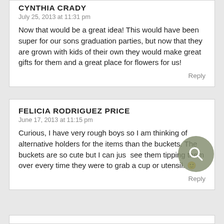CYNTHIA CRADY
July 25, 2013 at 11:31 pm
Now that would be a great idea! This would have been super for our sons graduation parties, but now that they are grown with kids of their own they would make great gifts for them and a great place for flowers for us!
Reply
FELICIA RODRIGUEZ PRICE
June 17, 2013 at 11:15 pm
Curious, I have very rough boys so I am thinking of alternative holders for the items than the buckets. The buckets are so cute but I can just see them tipping them over every time they were to grab a cup or utensil. 🙂
Reply